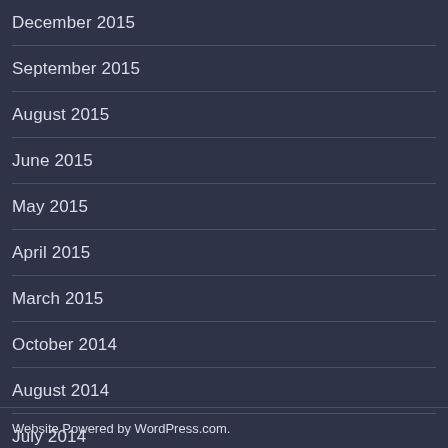December 2015
September 2015
August 2015
June 2015
May 2015
April 2015
March 2015
October 2014
August 2014
July 2014
Website Powered by WordPress.com.